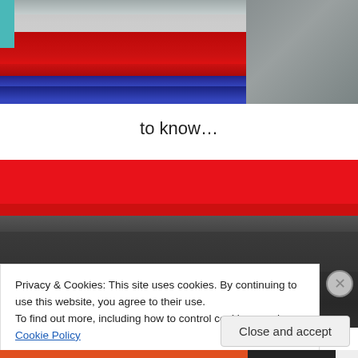[Figure (photo): Stacked colored paper or book covers — red, blue/navy, and gray tones visible from above]
to know…
[Figure (photo): Close-up of stacked books or folders — red cover on top, dark navy/black cover below with white 'Act' text visible]
Privacy & Cookies: This site uses cookies. By continuing to use this website, you agree to their use.
To find out more, including how to control cookies, see here: Cookie Policy
Close and accept